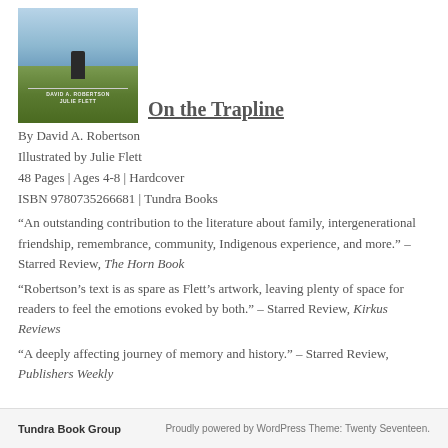[Figure (illustration): Book cover of 'On the Trapline' showing a figure in a field under a sky, by David A. Robertson and Julie Flett, published by Tundra Books]
On the Trapline
By David A. Robertson
Illustrated by Julie Flett
48 Pages | Ages 4-8 | Hardcover
ISBN 9780735266681 | Tundra Books
“An outstanding contribution to the literature about family, intergenerational friendship, remembrance, community, Indigenous experience, and more.” – Starred Review, The Horn Book
“Robertson’s text is as spare as Flett’s artwork, leaving plenty of space for readers to feel the emotions evoked by both.” – Starred Review, Kirkus Reviews
“A deeply affecting journey of memory and history.” – Starred Review, Publishers Weekly
Tundra Book Group   Proudly powered by WordPress Theme: Twenty Seventeen.